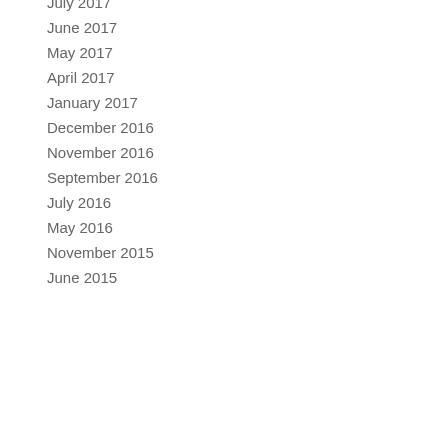July 2017
June 2017
May 2017
April 2017
January 2017
December 2016
November 2016
September 2016
July 2016
May 2016
November 2015
June 2015